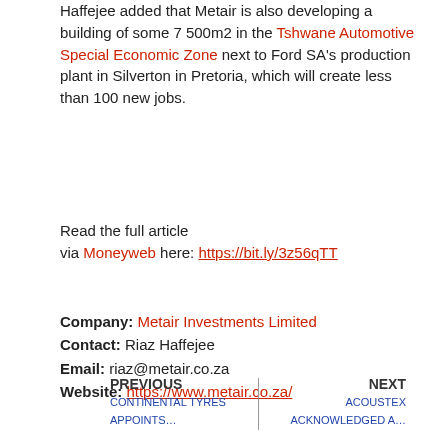Haffejee added that Metair is also developing a building of some 7 500m2 in the Tshwane Automotive Special Economic Zone next to Ford SA's production plant in Silverton in Pretoria, which will create less than 100 new jobs.
Read the full article via Moneyweb here: https://bit.ly/3z56qTT
Company: Metair Investments Limited
Contact: Riaz Haffejee
Email: riaz@metair.co.za
Website: https://www.metair.co.za/
PREVIOUS: CONTINENTAL TYRES APPOINTS... | NEXT: ACOUSTEX ACKNOWLEDGED A...